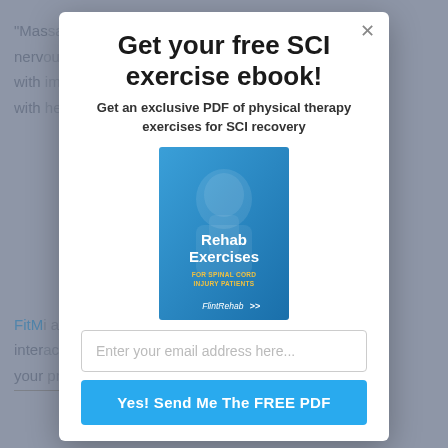"Mas... the nerv... ice with... ck with... ery.
Get your free SCI exercise ebook!
Get an exclusive PDF of physical therapy exercises for SCI recovery
[Figure (illustration): Book cover for 'Rehab Exercises for Spinal Cord Injury Patients' by FlintRehab, showing a blue cover with a person in background]
Enter your email address here...
Yes! Send Me The FREE PDF
FitM... ng, inter... rack your... es